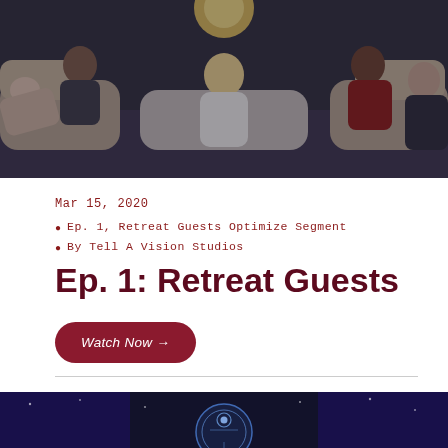[Figure (photo): Group of people sitting in a circle on white couches in a retreat setting, dimly lit with warm tones. Top portion of image visible.]
Mar 15, 2020
Ep. 1, Retreat Guests Optimize Segment
By Tell A Vision Studios
Ep. 1: Retreat Guests
Watch Now →
[Figure (photo): Dark stage with blue curtains and a glowing circular logo/symbol in the center, partially visible at bottom of page.]